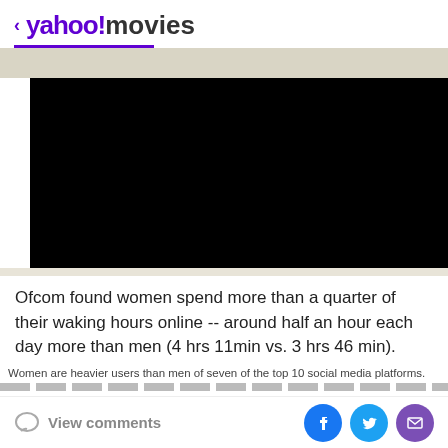< yahoo!movies
[Figure (photo): Black video player rectangle]
Ofcom found women spend more than a quarter of their waking hours online -- around half an hour each day more than men (4 hrs 11min vs. 3 hrs 46 min).
Women are heavier users than men of seven of the top 10 social media platforms.